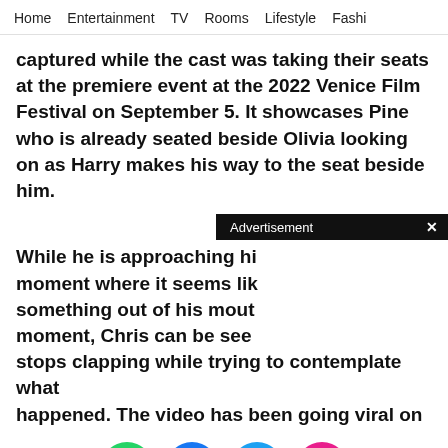Home   Entertainment   TV   Rooms   Lifestyle   Fashi
captured while the cast was taking their seats at the premiere event at the 2022 Venice Film Festival on September 5. It showcases Pine who is already seated beside Olivia looking on as Harry makes his way to the seat beside him.
While he is approaching hi moment where it seems lik something out of his mout moment, Chris can be see stops clapping while trying to contemplate what happened. The video has been going viral on
[Figure (screenshot): Advertisement bar overlay with 'Advertisement' label and close X button]
[Figure (infographic): Social share icons: WhatsApp (green), Facebook (blue), Twitter (light blue), More/dots (pink/magenta). Close X on right.]
[Figure (screenshot): BitLife advertisement banner: red background, BitLife logo with sperm icon, black square, knife graphic, Murder / Do it! button on right side]